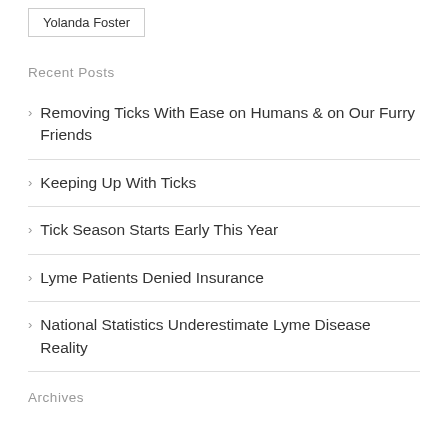Yolanda Foster
Recent Posts
Removing Ticks With Ease on Humans & on Our Furry Friends
Keeping Up With Ticks
Tick Season Starts Early This Year
Lyme Patients Denied Insurance
National Statistics Underestimate Lyme Disease Reality
Archives